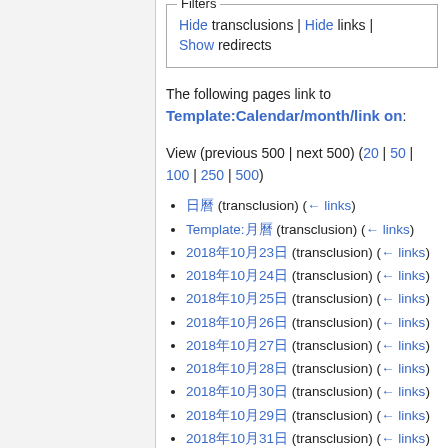Filters
Hide transclusions | Hide links |
Show redirects
The following pages link to Template:Calendar/month/link on:
View (previous 500 | next 500) (20 | 50 | 100 | 250 | 500)
日曆 (transclusion) (← links)
Template:月曆 (transclusion) (← links)
2018年10月23日 (transclusion) (← links)
2018年10月24日 (transclusion) (← links)
2018年10月25日 (transclusion) (← links)
2018年10月26日 (transclusion) (← links)
2018年10月27日 (transclusion) (← links)
2018年10月28日 (transclusion) (← links)
2018年10月30日 (transclusion) (← links)
2018年10月29日 (transclusion) (← links)
2018年10月31日 (transclusion) (← links)